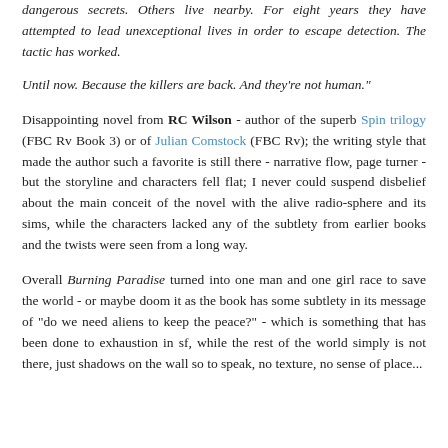dangerous secrets. Others live nearby. For eight years they have attempted to lead unexceptional lives in order to escape detection. The tactic has worked.
Until now. Because the killers are back. And they're not human."
Disappointing novel from RC Wilson - author of the superb Spin trilogy (FBC Rv Book 3) or of Julian Comstock (FBC Rv); the writing style that made the author such a favorite is still there - narrative flow, page turner - but the storyline and characters fell flat; I never could suspend disbelief about the main conceit of the novel with the alive radio-sphere and its sims, while the characters lacked any of the subtlety from earlier books and the twists were seen from a long way.
Overall Burning Paradise turned into one man and one girl race to save the world - or maybe doom it as the book has some subtlety in its message of "do we need aliens to keep the peace?" - which is something that has been done to exhaustion in sf, while the rest of the world simply is not there, just shadows on the wall so to speak, no texture, no sense of place...